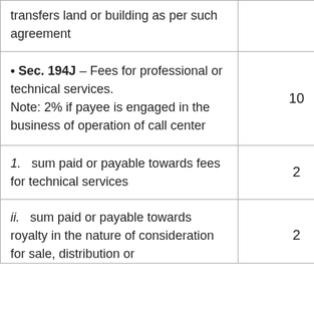| Description | Rate (%) |
| --- | --- |
| transfers land or building as per such agreement |  |
| • Sec. 194J – Fees for professional or technical services.
Note: 2% if payee is engaged in the business of operation of call center | 10 |
| 1.  sum paid or payable towards fees for technical services | 2 |
| ii.  sum paid or payable towards royalty in the nature of consideration for sale, distribution or | 2 |